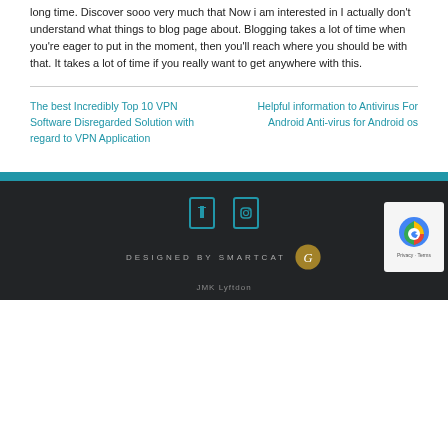long time. Discover sooo very much that Now i am interested in I actually don't understand what things to blog page about. Blogging takes a lot of time when you're eager to put in the moment, then you'll reach where you should be with that. It takes a lot of time if you really want to get anywhere with this.
The best Incredibly Top 10 VPN Software Disregarded Solution with regard to VPN Application
Helpful information to Antivirus For Android Anti-virus for Android os
DESIGNED BY SMARTCAT  JMK Lyftdon